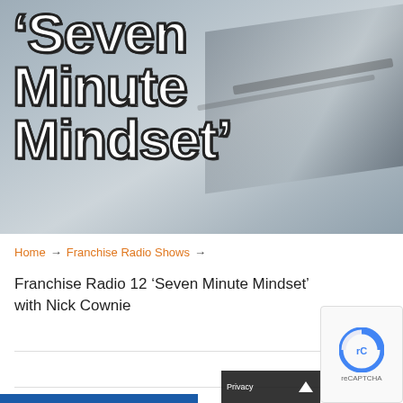[Figure (photo): Hero image background of a laptop/tablet on a desk, gray/silver tones, with large bold white text overlay reading 'Seven Minute Mindset' (partial view also shows 'Radio 12' at top)]
'Seven Minute Mindset'
Home → Franchise Radio Shows →
Franchise Radio 12 'Seven Minute Mindset' with Nick Cownie